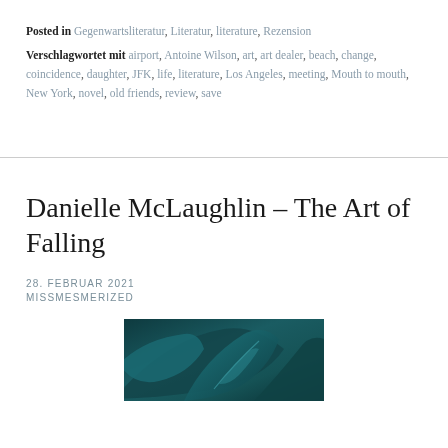Posted in Gegenwartsliteratur, Literatur, literature, Rezension
Verschlagwortet mit airport, Antoine Wilson, art, art dealer, beach, change, coincidence, daughter, JFK, life, literature, Los Angeles, meeting, Mouth to mouth, New York, novel, old friends, review, save
Danielle McLaughlin – The Art of Falling
28. FEBRUAR 2021
MISSMESMERIZED
[Figure (photo): Dark teal/green botanical photo showing large leaves with dramatic lighting]